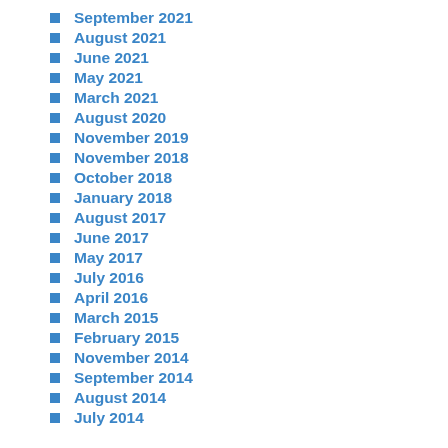September 2021
August 2021
June 2021
May 2021
March 2021
August 2020
November 2019
November 2018
October 2018
January 2018
August 2017
June 2017
May 2017
July 2016
April 2016
March 2015
February 2015
November 2014
September 2014
August 2014
July 2014